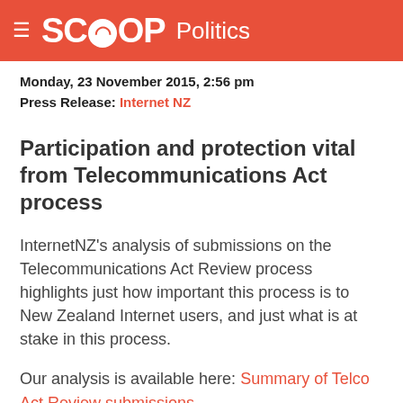SCOOP Politics
Monday, 23 November 2015, 2:56 pm
Press Release: Internet NZ
Participation and protection vital from Telecommunications Act process
InternetNZ's analysis of submissions on the Telecommunications Act Review process highlights just how important this process is to New Zealand Internet users, and just what is at stake in this process.
Our analysis is available here: Summary of Telco Act Review submissions